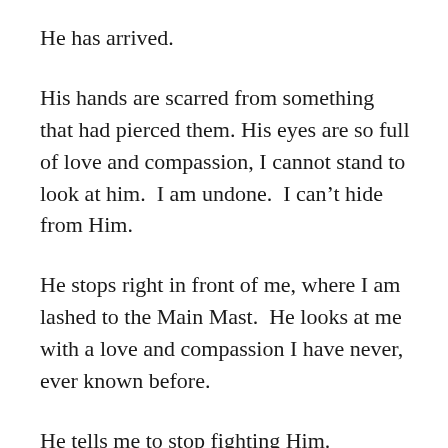He has arrived.
His hands are scarred from something that had pierced them. His eyes are so full of love and compassion, I cannot stand to look at him. I am undone. I can’t hide from Him.
He stops right in front of me, where I am lashed to the Main Mast. He looks at me with a love and compassion I have never, ever known before.
He tells me to stop fighting Him.